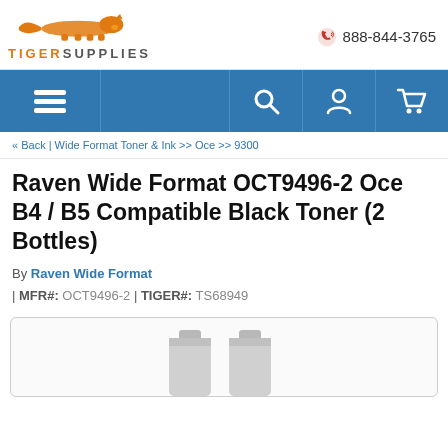[Figure (logo): Tiger Supplies logo: orange running tiger silhouette above the text TIGERSUPPLIES]
888-844-3765
[Figure (other): Navigation bar with hamburger menu, search icon, account icon, and shopping cart icon on blue background]
« Back | Wide Format Toner & Ink >> Oce >> 9300
Raven Wide Format OCT9496-2 Oce B4 / B5 Compatible Black Toner (2 Bottles)
By Raven Wide Format | MFR#: OCT9496-2 | TIGER#: TS68949
[Figure (photo): Partial view of two black toner bottles at the bottom of the page]